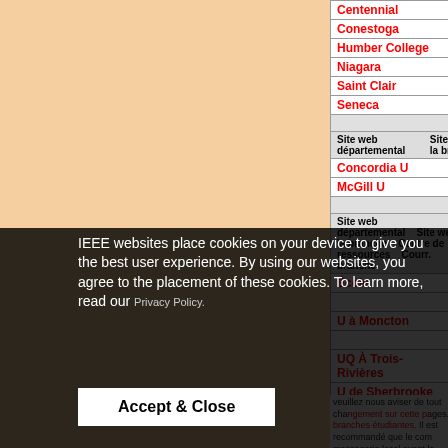|  | Site web départemental | Site web de la branche | Centre de ressources | Courr. branche |
| --- | --- | --- | --- | --- |
| Centennial | web site | No | ? |
| Conestoga | ? | Yes | ? |
| Humber College | ? | No | e-ma... |
| Niagara | web site | web site | ema... |
| Saint Clair | ? | Yes | ? |
| Seneca | ? | Yes | ? |
| Quebec University Anglophone Branch |  |  |  |
| Concordia U | web site | web site | e-ma... |
| McGill U | web site | ? | ema... |
| Les branches francophones du Québec |  |  |  |
| École... |  | site web | ?? |
| ... |  | No |  |
| U à Moncton? | ? | Non | ?? |
| ... |  | site web | Yes |
| UQ À Trois-Rivières | site web | site web | ?? |
| U de Sherbrooke | ? | ? | ? |
| Laval | site web | Oui | courr... |
IEEE websites place cookies on your device to give you the best user experience. By using our websites, you agree to the placement of these cookies. To learn more, read our Privacy Policy.
Accept & Close
veuillez nous aviser de tout changement sur cette page. branches étudiantes. Il est recommandé que le courriel de messagerie local ayant la forme "sb.nom_univ@iee..." changements